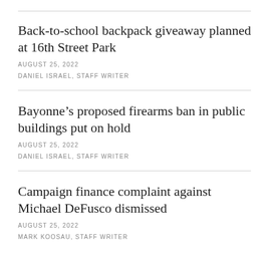Back-to-school backpack giveaway planned at 16th Street Park
AUGUST 25, 2022
DANIEL ISRAEL, STAFF WRITER
Bayonne’s proposed firearms ban in public buildings put on hold
AUGUST 25, 2022
DANIEL ISRAEL, STAFF WRITER
Campaign finance complaint against Michael DeFusco dismissed
AUGUST 25, 2022
MARK KOOSAU, STAFF WRITER